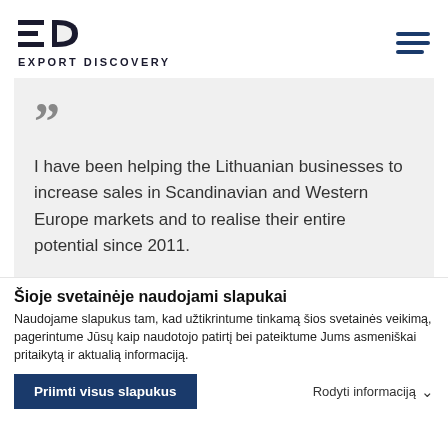[Figure (logo): Export Discovery logo with stylized ED icon and text EXPORT DISCOVERY]
[Figure (other): Hamburger menu icon with three horizontal dark blue lines]
” I have been helping the Lithuanian businesses to increase sales in Scandinavian and Western Europe markets and to realise their entire potential since 2011.
Šioje svetainėje naudojami slapukai
Naudojame slapukus tam, kad užtikrintume tinkamą šios svetainės veikima, pagerintume Jūsų kaip naudotojo patirtį bei pateiktume Jums asmeniškai pritaikytą ir aktualią informaciją.
Priimti visus slapukus
Rodyti informaciją